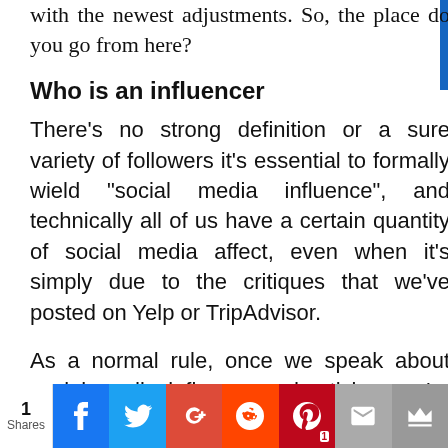with the newest adjustments. So, the place do you go from here?
Who is an influencer
There’s no strong definition or a sure variety of followers it’s essential to formally wield “social media influence”, and technically all of us have a certain quantity of social media affect, even when it’s simply due to the critiques that we’ve posted on Yelp or TripAdvisor.
As a normal rule, once we speak about social media influencer advertising, we’re speaking about brands in search of
1 Shares | Facebook | Twitter | Google+ | Reddit | Pinterest 1 | Email | Crown